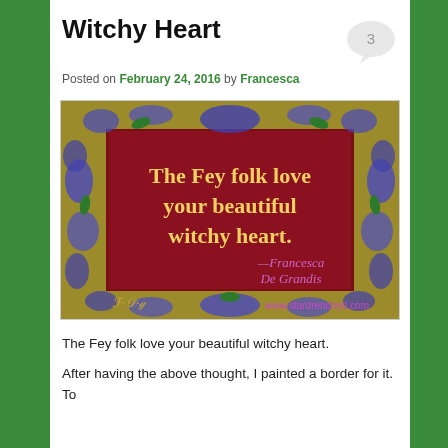Witchy Heart
Posted on February 24, 2016 by Francesca
[Figure (illustration): Decorative artwork with blue floral/vine border on gold background surrounding a dark red/maroon rectangle. Yellow text reads 'The Fey folk love your beautiful witchy heart.' with purple text '—Francesca De Grandis' on the right. Bottom left has decorative monogram initials 'FDG' and bottom right shows 'www.stardrenched.com' in purple.]
The Fey folk love your beautiful witchy heart.
After having the above thought, I painted a border for it. To